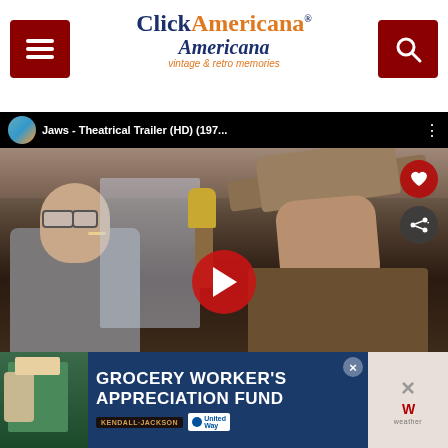Click Americana - vintage & retro memories
[Figure (screenshot): YouTube video player showing Jaws Theatrical Trailer (HD) (197...) with two men in a boat cabin scene, play button overlay, heart and share action buttons, and 'WHAT'S NEXT - How Thomas Edison...' thumbnail overlay]
[Figure (infographic): Advertisement banner: GROCERY WORKER'S APPRECIATION FUND with Kendall-Jackson and United Way logos]